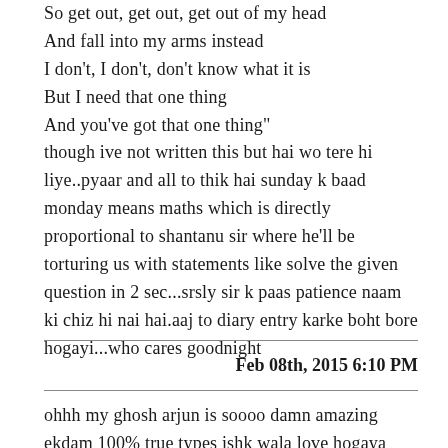So get out, get out, get out of my head
And fall into my arms instead
I don't, I don't, don't know what it is
But I need that one thing
And you've got that one thing"
though ive not written this but hai wo tere hi liye..pyaar and all to thik hai sunday k baad monday means maths which is directly proportional to shantanu sir where he'll be torturing us with statements like solve the given question in 2 sec...srsly sir k paas patience naam ki chiz hi nai hai.aaj to diary entry karke boht bore hogayi...who cares goodnight
Feb 08th, 2015 6:10 PM
ohhh my ghosh arjun is soooo damn amazing ekdam 100% true types ishk wala love hogaya mujhe :P